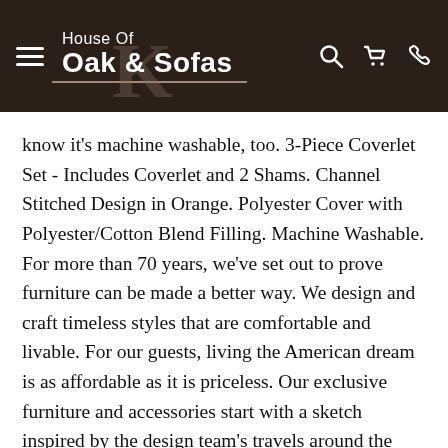[Figure (logo): House Of Oak & Sofas website header navigation bar with hamburger menu icon on the left, the House Of Oak & Sofas logo in the center-left, and search, cart, and phone icons on the right, all on a dark brown background.]
know it's machine washable, too. 3-Piece Coverlet Set - Includes Coverlet and 2 Shams. Channel Stitched Design in Orange. Polyester Cover with Polyester/Cotton Blend Filling. Machine Washable. For more than 70 years, we've set out to prove furniture can be made a better way. We design and craft timeless styles that are comfortable and livable. For our guests, living the American dream is as affordable as it is priceless. Our exclusive furniture and accessories start with a sketch inspired by the design team's travels around the world. Many Ashley products are assembled in the U.S. with domestic and imported parts, and quality tested so they arrive in your home, ready to enjoy for years. We recognize one style does not suit all. That's why you'll find so much to love in our wide selection of room-to-room furnishings. From industrial electric to